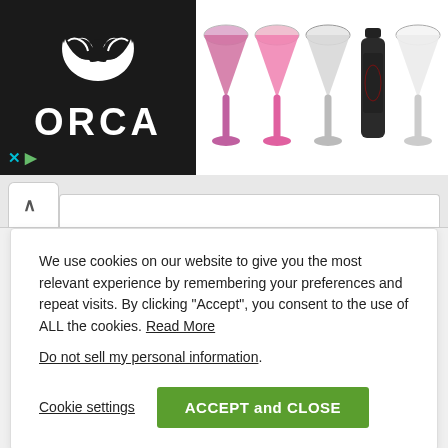[Figure (screenshot): Orca brand advertisement banner showing logo on dark background and several martini glass product images in pink, white, and patterned designs, plus a black bottle]
[Figure (screenshot): Browser tab area with up arrow tab and white content tab]
We use cookies on our website to give you the most relevant experience by remembering your preferences and repeat visits. By clicking “Accept”, you consent to the use of ALL the cookies. Read More
Do not sell my personal information.
Cookie settings
ACCEPT and CLOSE
[Figure (screenshot): Green READ MORE » button on light green card background]
[Figure (screenshot): Green scroll-to-top arrow button in bottom right corner]